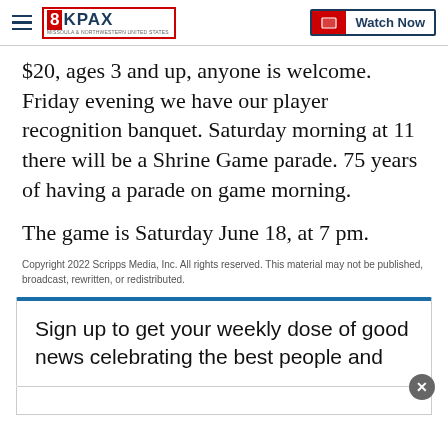8KPAX | Watch Now
$20, ages 3 and up, anyone is welcome. Friday evening we have our player recognition banquet. Saturday morning at 11 there will be a Shrine Game parade. 75 years of having a parade on game morning.
The game is Saturday June 18, at 7 pm.
Copyright 2022 Scripps Media, Inc. All rights reserved. This material may not be published, broadcast, rewritten, or redistributed.
Sign up to get your weekly dose of good news celebrating the best people and